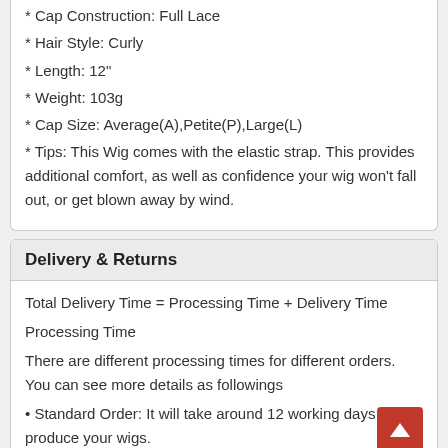* Hair Style: Curly
* Length: 12"
* Weight: 103g
* Cap Size: Average(A),Petite(P),Large(L)
* Tips: This Wig comes with the elastic strap. This provides additional comfort, as well as confidence your wig won't fall out, or get blown away by wind.
Delivery & Returns
Total Delivery Time = Processing Time + Delivery Time
Processing Time
There are different processing times for different orders. You can see more details as followings
• Standard Order: It will take around 12 working days to produce your wigs.